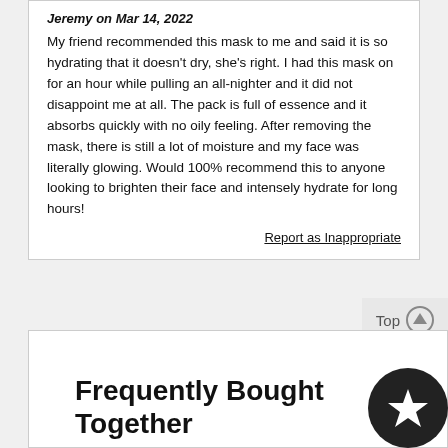Jeremy on Mar 14, 2022
My friend recommended this mask to me and said it is so hydrating that it doesn't dry, she's right. I had this mask on for an hour while pulling an all-nighter and it did not disappoint me at all. The pack is full of essence and it absorbs quickly with no oily feeling. After removing the mask, there is still a lot of moisture and my face was literally glowing. Would 100% recommend this to anyone looking to brighten their face and intensely hydrate for long hours!
Report as Inappropriate
Frequently Bought Together